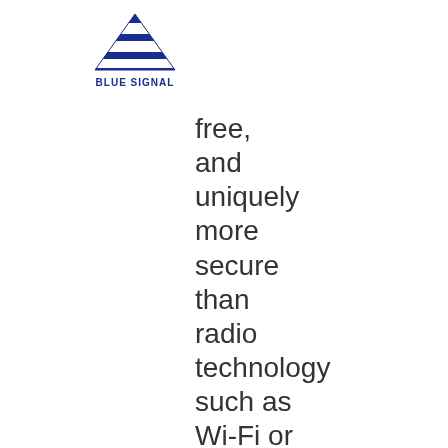[Figure (logo): Blue Signal logo: blue layered triangle/signal bars above the text BLUE SIGNAL in bold dark blue]
free,
and
uniquely
more
secure
than
radio
technology
such as
Wi-Fi or
cellular,
Li-Fi is
the key
to a
connected